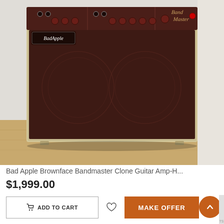[Figure (photo): A Bad Apple Brownface Bandmaster Clone guitar amplifier combo, dark maroon/brown speaker grill cloth with cream/tan cabinet, multiple knobs on top panel, 'Bad Apple' logo badge on front left, 'Band Master' script on top right panel. The amp is sitting on a wood floor against a light wall.]
Bad Apple Brownface Bandmaster Clone Guitar Amp-H...
$1,999.00
ADD TO CART
MAKE OFFER